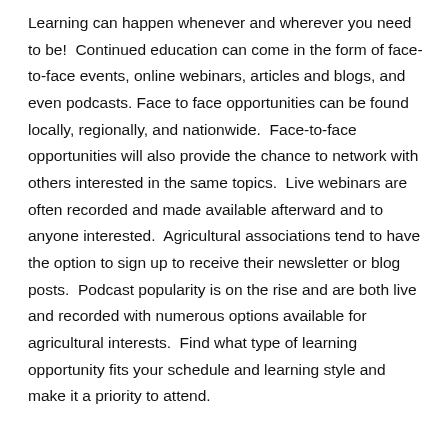Learning can happen whenever and wherever you need to be!  Continued education can come in the form of face-to-face events, online webinars, articles and blogs, and even podcasts. Face to face opportunities can be found locally, regionally, and nationwide.  Face-to-face opportunities will also provide the chance to network with others interested in the same topics.  Live webinars are often recorded and made available afterward and to anyone interested.  Agricultural associations tend to have the option to sign up to receive their newsletter or blog posts.  Podcast popularity is on the rise and are both live and recorded with numerous options available for agricultural interests.  Find what type of learning opportunity fits your schedule and learning style and make it a priority to attend.